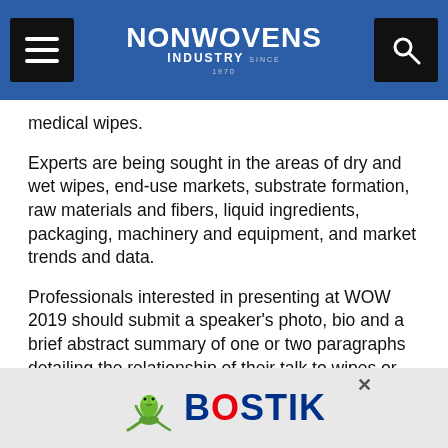NONWOVENS INDUSTRY
medical wipes.
Experts are being sought in the areas of dry and wet wipes, end-use markets, substrate formation, raw materials and fibers, liquid ingredients, packaging, machinery and equipment, and market trends and data.
Professionals interested in presenting at WOW 2019 should submit a speaker’s photo, bio and a brief abstract summary of one or two paragraphs detailing the relationship of their talk to wipes or wipe manufacturing, to INDA Education Coordinator Deanna Lovell, dlovell@inda.org, by Oct. 22.
[Figure (logo): Bostik advertisement banner with gecko lizard logo]